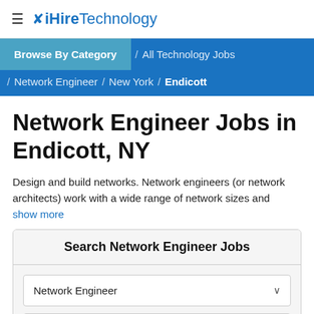iHireTechnology
Browse By Category / All Technology Jobs / Network Engineer / New York / Endicott
Network Engineer Jobs in Endicott, NY
Design and build networks. Network engineers (or network architects) work with a wide range of network sizes and
show more
Search Network Engineer Jobs
Network Engineer
Endicott, NY